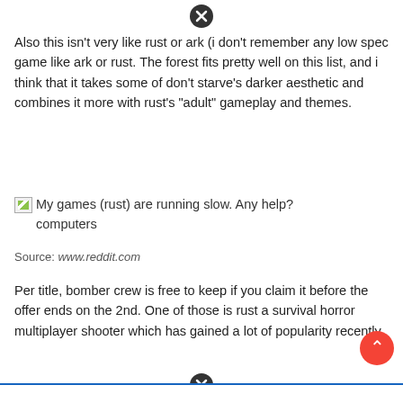[Figure (other): Close/X button circle icon at top center]
Also this isn't very like rust or ark (i don't remember any low spec game like ark or rust. The forest fits pretty well on this list, and i think that it takes some of don't starve's darker aesthetic and combines it more with rust's "adult" gameplay and themes.
My games (rust) are running slow. Any help? computers
Source: www.reddit.com
Per title, bomber crew is free to keep if you claim it before the offer ends on the 2nd. One of those is rust a survival horror multiplayer shooter which has gained a lot of popularity recently.
[Figure (other): Close/X button circle icon at bottom center]
[Figure (other): Red scroll-to-top FAB button at bottom right]